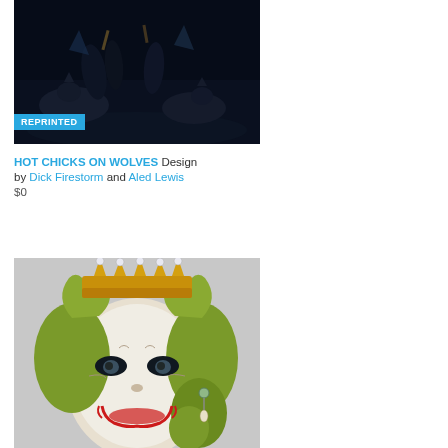[Figure (illustration): Dark illustration of hot chicks on wolves, dramatic blue-tinted scene with figures and wolves on a dark background. Has a 'REPRINTED' badge overlay in blue.]
HOT CHICKS ON WOLVES Design by Dick Firestorm and Aled Lewis
$0
[Figure (illustration): Illustration of Queen Elizabeth II rendered as the Joker character, with green hair, golden crown, white face paint, and red smeared lipstick, on a gray background.]